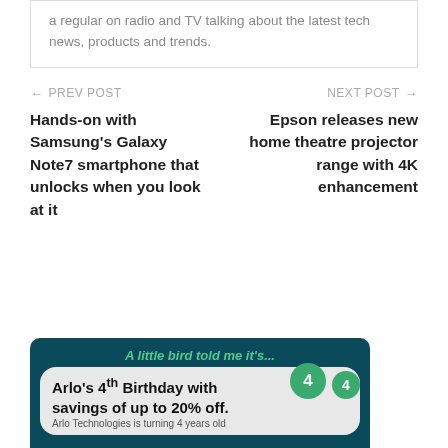a regular on radio and TV talking about the latest tech news, products and trends.
← PREV POST
Hands-on with Samsung's Galaxy Note7 smartphone that unlocks when you look at it
NEXT POST →
Epson releases new home theatre projector range with 4K enhancement
[Figure (illustration): Advertisement banner with dark teal background. Text reads 'A little bird told me it's...' in green italic. Below is a speech bubble saying 'Arlo's 4th Birthday with savings of up to 20% off.' with green balloons showing '4' and a woman with brown hair. Small text: 'Arlo Technologies is turning 4 years old']